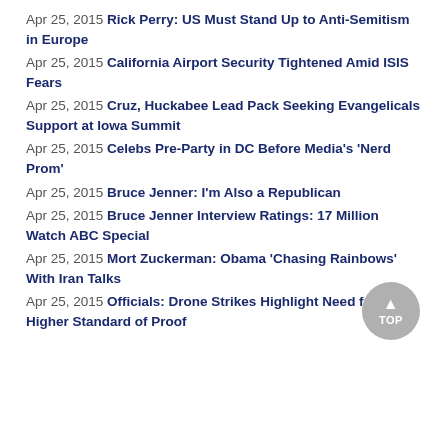Apr 25, 2015 Rick Perry: US Must Stand Up to Anti-Semitism in Europe
Apr 25, 2015 California Airport Security Tightened Amid ISIS Fears
Apr 25, 2015 Cruz, Huckabee Lead Pack Seeking Evangelicals Support at Iowa Summit
Apr 25, 2015 Celebs Pre-Party in DC Before Media's 'Nerd Prom'
Apr 25, 2015 Bruce Jenner: I'm Also a Republican
Apr 25, 2015 Bruce Jenner Interview Ratings: 17 Million Watch ABC Special
Apr 25, 2015 Mort Zuckerman: Obama 'Chasing Rainbows' With Iran Talks
Apr 25, 2015 Officials: Drone Strikes Highlight Need for Higher Standard of Proof